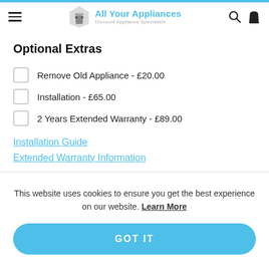All Your Appliances – Discount Appliance Specialists
Optional Extras
Remove Old Appliance - £20.00
Installation - £65.00
2 Years Extended Warranty - £89.00
Installation Guide
Extended Warranty Information
This website uses cookies to ensure you get the best experience on our website. Learn More
GOT IT